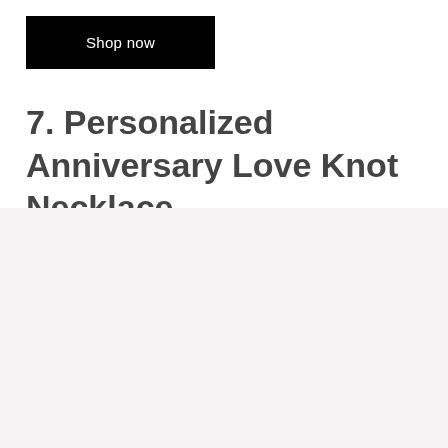Shop now
7. Personalized Anniversary Love Knot Necklace
[Figure (other): Light gray background block filling the lower portion of the page]